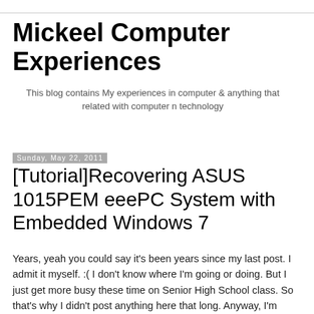Mickeel Computer Experiences
This blog contains My experiences in computer & anything that related with computer n technology
Sunday, May 22, 2011
[Tutorial]Recovering ASUS 1015PEM eeePC System with Embedded Windows 7
Years, yeah you could say it's been years since my last post. I admit it myself. :( I don't know where I'm going or doing. But I just get more busy these time on Senior High School class. So that's why I didn't post anything here that long. Anyway, I'm going to share a little but very useful tutorial for you who are using Asus eeePC.